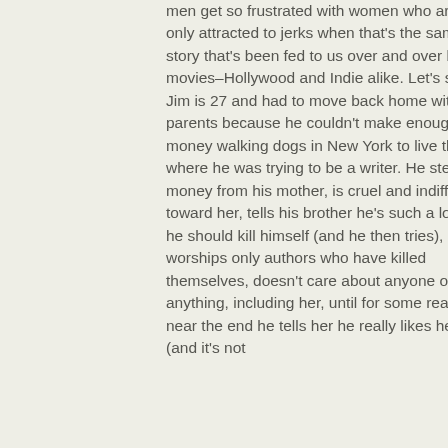men get so frustrated with women who are only attracted to jerks when that's the same story that's been fed to us over and over by movies–Hollywood and Indie alike. Let's see, Jim is 27 and had to move back home with his parents because he couldn't make enough money walking dogs in New York to live there, where he was trying to be a writer. He steals money from his mother, is cruel and indifferent toward her, tells his brother he's such a loser he should kill himself (and he then tries), worships only authors who have killed themselves, doesn't care about anyone or anything, including her, until for some reason near the end he tells her he really likes her (and it's not